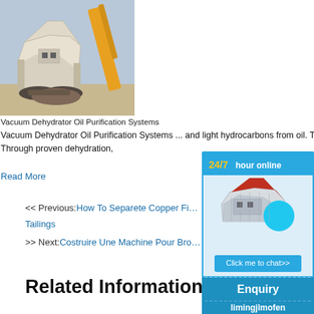[Figure (photo): Construction/mining machine (crusher or similar heavy equipment) on a job site with crane boom visible]
Vacuum Dehydrator Oil Purification Systems
Vacuum Dehydrator Oil Purification Systems ... and light hydrocarbons from oil. The system is opera... conditions, ... Through proven dehydration,
Read More
<< Previous:How To Separete Copper Fi... Tailings
>> Next:Costruire Une Machine Pour Bro...
Related Information:
[Figure (infographic): Chat widget sidebar showing '24/7 hour online', machine image, 'Click me to chat>>' button, 'Enquiry' section, and 'limingjlmofen' text]